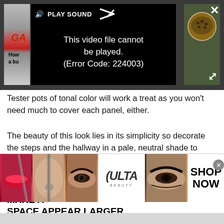[Figure (screenshot): Video player showing error message 'This video file cannot be played. (Error Code: 224003)' with a PLAY SOUND button, partial thumbnail images on left and right sides, close X button top right, and expand button bottom right. Background is dark gray.]
Tester pots of tonal color will work a treat as you won't need much to cover each panel, either.
The beauty of this look lies in its simplicity so decorate the steps and the hallway in a pale, neutral shade to avoid the remaining decor fighting against the soft, staggered colors.
10. ADD LAYERS OF TONAL COLOR TO MAKE A SPACE APPEAR LARGER
[Figure (photo): Advertisement banner for ULTA beauty featuring makeup images: red lips with brush, eye with makeup brush, smoky eye makeup, ULTA logo, smoky eye, and SHOP NOW button.]